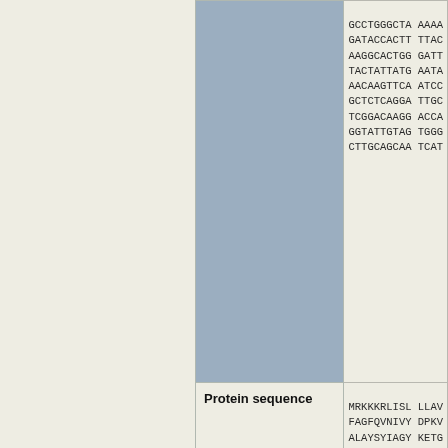| Label | Sequence |
| --- | --- |
| (DNA continued) | GCCTGGGCTA AAAA
GATACCACTT TTAC
AAGGCACTGG GATT
TACTATTATG AATA
AACAGTTCA ATCC
GCTCTCAGGA TTGC
TCGGACAAGG ACCA
GGTATTGTAG TGGG
CTTGCAGCAA TCAT |
| Protein sequence | MRKKKRLISL LLAV
FAGFQVNIVY DPKV
ALAYSYIAGY KETG
VITGYEVIQP DVLS
SAKVELEPVL DNAT
AKFLIKSDAE YKLR
KEKIGNRPVI DISV
VSVPSGKYEP SLGV
DTTFTPQADI TRAD
NKFNPKAKIT RQDM
GIVVGSGDII NPRG |